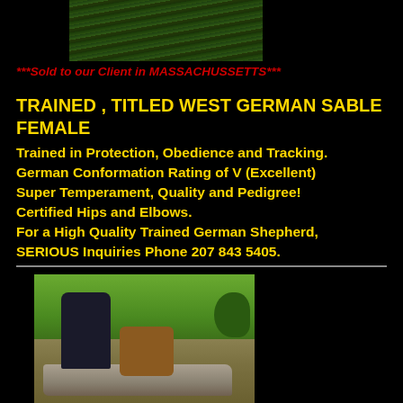[Figure (photo): Aerial/close-up view of green grass]
***Sold to our Client in MASSACHUSSETTS***
TRAINED , TITLED WEST GERMAN SABLE FEMALE
Trained in Protection, Obedience and Tracking.
German Conformation Rating of V (Excellent)
Super Temperament, Quality and Pedigree!
Certified Hips and Elbows.
For a High Quality Trained German Shepherd, SERIOUS Inquiries Phone 207 843 5405.
[Figure (photo): Photo of a man kneeling next to a German Shepherd dog on a stone surface, with green grass and trees in the background]